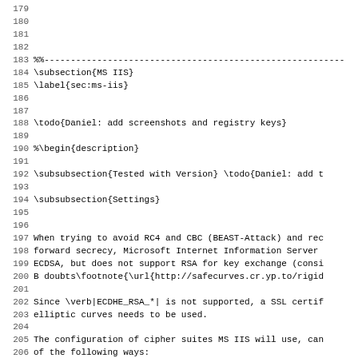Source code / LaTeX document lines 179-211 showing MS IIS subsection with LaTeX markup including subsection, label, todo, subsubsection commands and descriptive text about RC4, CBC, BEAST-Attack, ECDSA, RSA, ECDHE_RSA, SSL certificates, cipher suites, and enumerate items for Group Policy, Registry, IIS Crypto configuration.